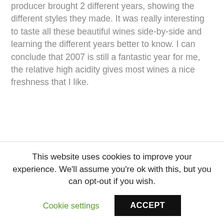producer brought 2 different years, showing the different styles they made. It was really interesting to taste all these beautiful wines side-by-side and learning the different years better to know. I can conclude that 2007 is still a fantastic year for me, the relative high acidity gives most wines a nice freshness that I like.
This website uses cookies to improve your experience. We'll assume you're ok with this, but you can opt-out if you wish.
Cookie settings  ACCEPT